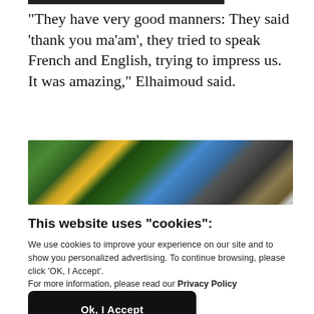“They have very good manners: They said ‘thank you ma’am’, they tried to speak French and English, trying to impress us. It was amazing,” Elhaimoud said.
[Figure (photo): Photo showing colorful merchandise or products with dark objects in the background, possibly a store display.]
This website uses "cookies":
We use cookies to improve your experience on our site and to show you personalized advertising. To continue browsing, please click ‘OK, I Accept’.
For more information, please read our Privacy Policy
Ok, I Accept